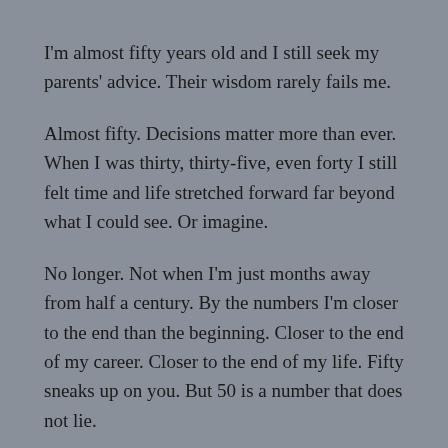I'm almost fifty years old and I still seek my parents' advice.  Their wisdom rarely fails me.
Almost fifty.  Decisions matter more than ever.  When I was thirty, thirty-five, even forty I still felt time and life stretched forward far beyond what I could see.  Or imagine.
No longer.  Not when I'm just months away from half a century.  By the numbers I'm closer to the end than the beginning.  Closer to the end of my career.  Closer to the end of my life.  Fifty sneaks up on you.  But 50 is a number that does not lie.
Decisions are supposed to get easier as we age, drawing on maturity and life experience to guide us forward.